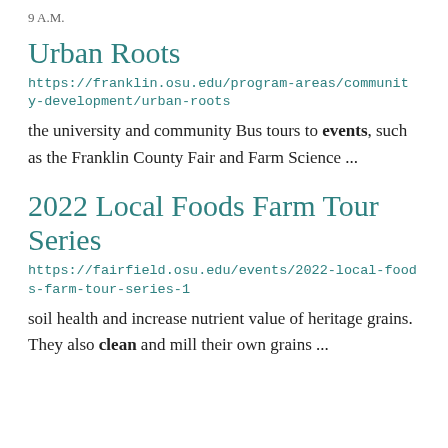9 A.M.
Urban Roots
https://franklin.osu.edu/program-areas/community-development/urban-roots
the university and community Bus tours to events, such as the Franklin County Fair and Farm Science ...
2022 Local Foods Farm Tour Series
https://fairfield.osu.edu/events/2022-local-foods-farm-tour-series-1
soil health and increase nutrient value of heritage grains. They also clean and mill their own grains ...